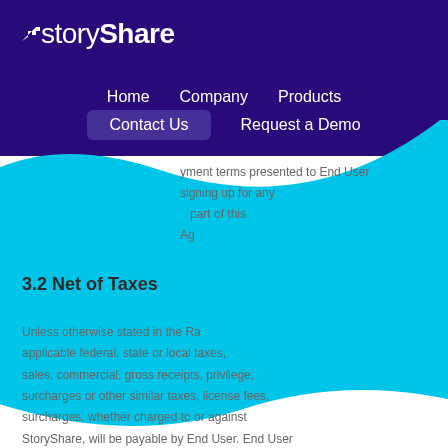storyShare — Home  Company  Products  Contact Us  Request a Demo
payment terms presented to End User signing up for any part of this Ag...
3.2 Net of Taxes
Unless otherwise stated in the Ra... applicable federal, state or local taxes, sales, commercial, gross receipts, privilege, surcharges or other similar taxes, license fees, surcharges, whether charged to or against StoryShare, will be payable by End User. End User